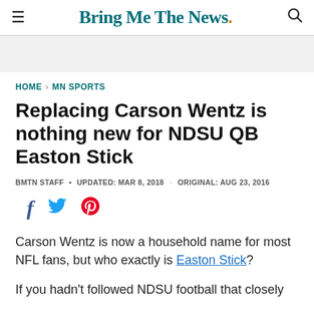Bring Me The News.
HOME > MN SPORTS
Replacing Carson Wentz is nothing new for NDSU QB Easton Stick
BMTN STAFF • UPDATED: MAR 8, 2018 · ORIGINAL: AUG 23, 2016
[Figure (other): Social sharing icons: Facebook, Twitter, Pinterest]
Carson Wentz is now a household name for most NFL fans, but who exactly is Easton Stick?
If you hadn't followed NDSU football that closely